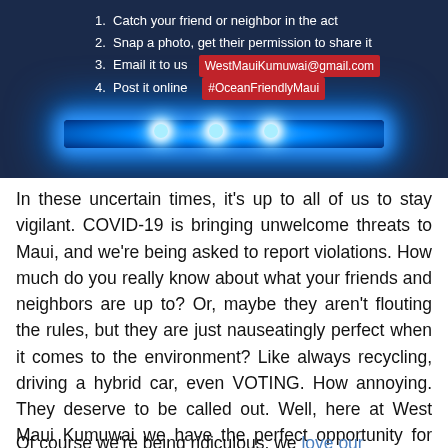[Figure (screenshot): Dark blue image showing blue flashing lights (like police/emergency lights) with text overlay listing 4 steps: 1. Catch your friend or neighbor in the act, 2. Snap a photo, get their permission to share it, 3. Email it to us [WestMauiKumuwai@gmail.com in red badge], 4. Post it online [#OceanFriendlyMaui in red badge]]
In these uncertain times, it's up to all of us to stay vigilant. COVID-19 is bringing unwelcome threats to Maui, and we're being asked to report violations. How much do you really know about what your friends and neighbors are up to? Or, maybe they aren't flouting the rules, but they are just nauseatingly perfect when it comes to the environment? Like always recycling, driving a hybrid car, even VOTING. How annoying. They deserve to be called out. Well, here at West Maui Kumuwai we have the perfect opportunity for you...
Of course we're being ridiculous, we love our